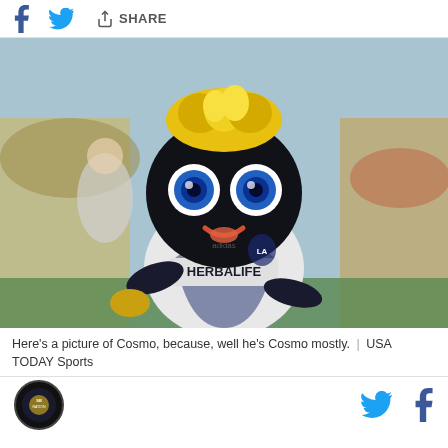Share
[Figure (photo): LA Galaxy mascot Cosmo wearing a white Herbalife jersey, with large blue eyes, yellow hair, dark fuzzy body, at a soccer stadium with crowd in background]
Here's a picture of Cosmo, because, well he's Cosmo mostly.  |  USA TODAY Sports
SB Nation logo with social sharing icons